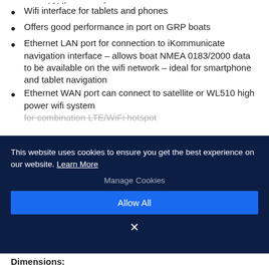Wifi interface for tablets and phones
Offers good performance in port on GRP boats
Ethernet LAN port for connection to iKommunicate navigation interface – allows boat NMEA 0183/2000 data to be available on the wifi network – ideal for smartphone and tablet navigation
Ethernet WAN port can connect to satellite or WL510 high power wifi system for combination LTE/WiFi hotspot
This website uses cookies to ensure you get the best experience on our website. Learn More
Manage Cookies
Allow All
Dimensions: